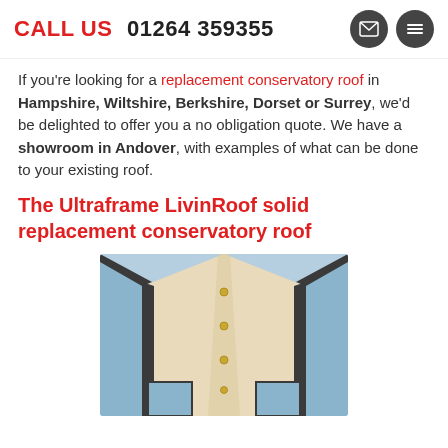CALL US  01264 359355
If you're looking for a replacement conservatory roof in Hampshire, Wiltshire, Berkshire, Dorset or Surrey, we'd be delighted to offer you a no obligation quote. We have a showroom in Andover, with examples of what can be done to your existing roof.
The Ultraframe LivinRoof solid replacement conservatory roof
[Figure (photo): Interior view looking up at a conservatory roof junction showing cream/beige solid roof panels meeting at a corner with dark aluminium framing and visible fixings/bolts, with blue sky visible through glazed sections]